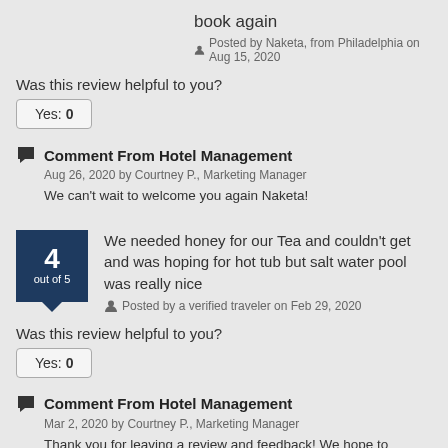book again
Posted by Naketa, from Philadelphia on Aug 15, 2020
Was this review helpful to you?
Yes: 0
Comment From Hotel Management
Aug 26, 2020 by Courtney P., Marketing Manager
We can't wait to welcome you again Naketa!
We needed honey for our Tea and couldn't get and was hoping for hot tub but salt water pool was really nice
Posted by a verified traveler on Feb 29, 2020
Was this review helpful to you?
Yes: 0
Comment From Hotel Management
Mar 2, 2020 by Courtney P., Marketing Manager
Thank you for leaving a review and feedback! We hope to